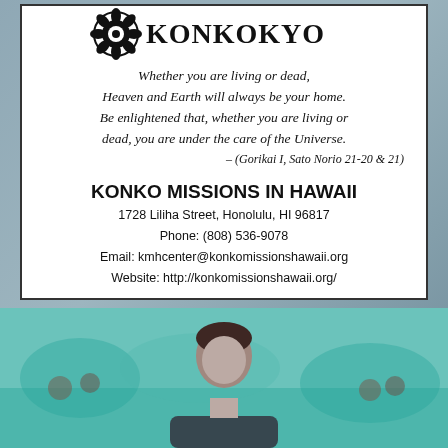[Figure (logo): Konkokyo logo with floral/medallion emblem and KONKOKYO text]
Whether you are living or dead, Heaven and Earth will always be your home. Be enlightened that, whether you are living or dead, you are under the care of the Universe. – (Gorikai I, Sato Norio 21-20 & 21)
KONKO MISSIONS IN HAWAII
1728 Liliha Street, Honolulu, HI 96817
Phone: (808) 536-9078
Email: kmhcenter@konkomissionshawaii.org
Website: http://konkomissionshawaii.org/
[Figure (photo): Photo of a person (man) in the foreground with a crowd and water/ocean scene in the background, teal/turquoise color cast]